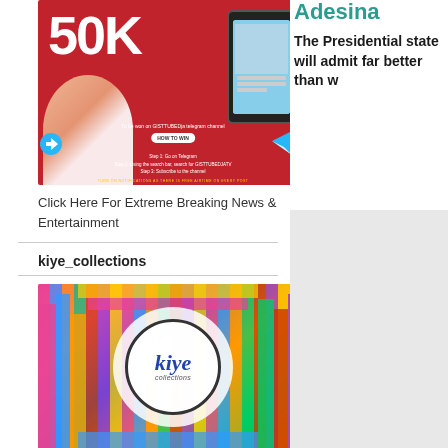[Figure (photo): Red promotional banner showing '50K' giveaway for GISTTUBEDja Telegram channel, with a woman holding a phone, Telegram logo, and instructions on how to win]
Click Here For Extreme Breaking News & Entertainment
kiye_collections
[Figure (logo): kiye_collections logo with colorful books background and circular logo with 'kiye collections' text]
Adesina
The Presidential state will admit far better than w